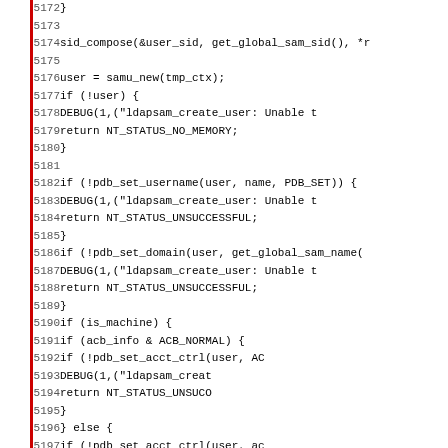[Figure (screenshot): Source code listing showing C code lines 5172-5203, with line numbers in gray on the left, a red vertical bar separator, and code content on the right. The code shows functions including sid_compose, samu_new, pdb_set_username, pdb_set_domain, is_machine checks, and acct_ctrl calls.]